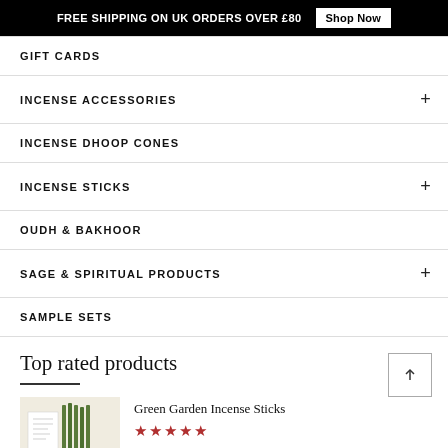FREE SHIPPING ON UK ORDERS OVER £80  Shop Now
GIFT CARDS
INCENSE ACCESSORIES
INCENSE DHOOP CONES
INCENSE STICKS
OUDH & BAKHOOR
SAGE & SPIRITUAL PRODUCTS
SAMPLE SETS
Top rated products
Green Garden Incense Sticks ★★★★★